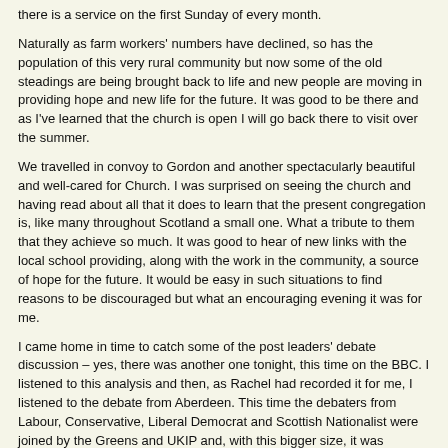there is a service on the first Sunday of every month.
Naturally as farm workers' numbers have declined, so has the population of this very rural community but now some of the old steadings are being brought back to life and new people are moving in providing hope and new life for the future. It was good to be there and as I've learned that the church is open I will go back there to visit over the summer.
We travelled in convoy to Gordon and another spectacularly beautiful and well-cared for Church. I was surprised on seeing the church and having read about all that it does to learn that the present congregation is, like many throughout Scotland a small one. What a tribute to them that they achieve so much. It was good to hear of new links with the local school providing, along with the work in the community, a source of hope for the future. It would be easy in such situations to find reasons to be discouraged but what an encouraging evening it was for me.
I came home in time to catch some of the post leaders' debate discussion – yes, there was another one tonight, this time on the BBC. I listened to this analysis and then, as Rachel had recorded it for me, I listened to the debate from Aberdeen. This time the debaters from Labour, Conservative, Liberal Democrat and Scottish Nationalist were joined by the Greens and UKIP and, with this bigger size, it was potentially much less manageable. However, I thought that it was significantly better moderated than the debate last night. Patrick Harvie from the Greens was a good addition although the less said about UKIP the better. Tonight I thought that Nicola Sturgeon came out clearly on top – and this in spite of the fact that the others were all seeking to knock her down and that the majority of the audience, because it was based on so many for each candidate rather than reflecting the percentage support in the country, was naturally opposed to her views. I thought that Willie Rennie was being treated as an irrelevance as his leader was in the debate last week, that Ruth Davidson was too strident and that whoever has been advising both Ed Milliband (last week) and Jim Murphy on presentational issues ought to be dismissed. This attempt to woo the camera, to refrain from answering questions, to hector others and then to preach sermons without providing facts, really doesn't work. I would have expected Mr. Murphy to have launched detailed attacks on Ms. Sturgeon based on her record in government or on the record at Westminster of Scottish Nationalist MPs in the last parliament but none of that was forthcoming and it must have been an opportunity missed for him. I suspect that the public view when poll results come out later in the week will declare Nicola Sturgeon clearly the winner (not that such a poll really